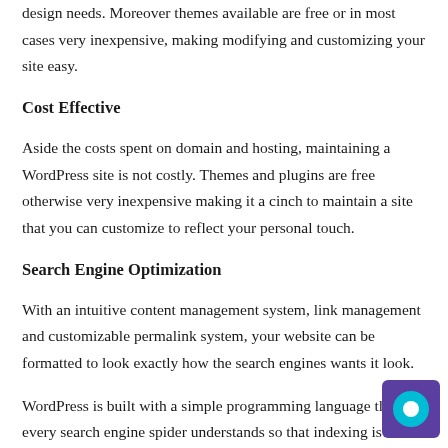design needs. Moreover themes available are free or in most cases very inexpensive, making modifying and customizing your site easy.
Cost Effective
Aside the costs spent on domain and hosting, maintaining a WordPress site is not costly. Themes and plugins are free otherwise very inexpensive making it a cinch to maintain a site that you can customize to reflect your personal touch.
Search Engine Optimization
With an intuitive content management system, link management and customizable permalink system, your website can be formatted to look exactly how the search engines wants it look.
WordPress is built with a simple programming language that every search engine spider understands so that indexing is not an issue.